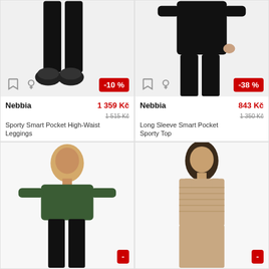[Figure (photo): Woman wearing black high-waist leggings with black sneakers, white background. -10% badge.]
[Figure (photo): Woman wearing black long sleeve top and black leggings, white background. -38% badge.]
Nebbia | 1 359 Kč
Sporty Smart Pocket High-Waist Leggings | 1 515 Kč
Dostupné velikosti (3)
S M L
Nebbia | 843 Kč
Long Sleeve Smart Pocket Sporty Top | 1 350 Kč
Dostupné velikosti (3)
XS S M
[Figure (photo): Woman with blonde hair wearing dark green long sleeve ribbed crop top and black leggings.]
[Figure (photo): Woman with dark hair wearing beige/taupe ribbed sleeveless tank top.]